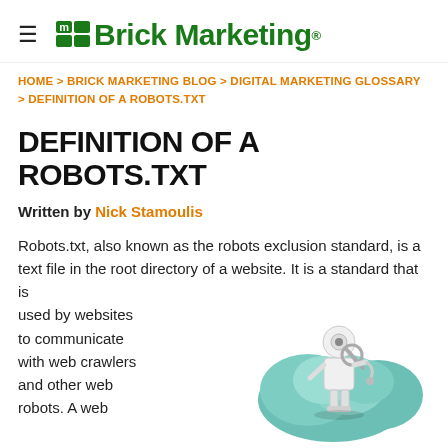≡ mBrick Marketing®
HOME > BRICK MARKETING BLOG > DIGITAL MARKETING GLOSSARY > DEFINITION OF A ROBOTS.TXT
DEFINITION OF A ROBOTS.TXT
Written by Nick Stamoulis
Robots.txt, also known as the robots exclusion standard, is a text file in the root directory of a website. It is a standard that is used by websites to communicate with web crawlers and other web robots. A web
[Figure (illustration): Cartoon robot/stickman figure with a magnifying glass standing in front of teal cloud shapes]